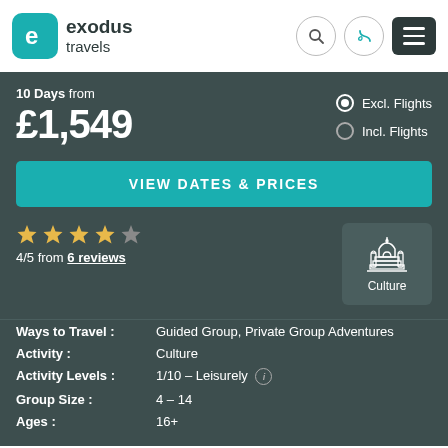[Figure (logo): Exodus Travels logo with teal rounded square icon containing letter e, and text exodus travels]
10 Days from
£1,549
Excl. Flights
Incl. Flights
VIEW DATES & PRICES
4/5 from 6 reviews
[Figure (illustration): Culture category icon showing a building resembling the Taj Mahal with the label Culture]
Ways to Travel : Guided Group, Private Group Adventures
Activity : Culture
Activity Levels : 1/10 – Leisurely
Group Size : 4 – 14
Ages : 16+